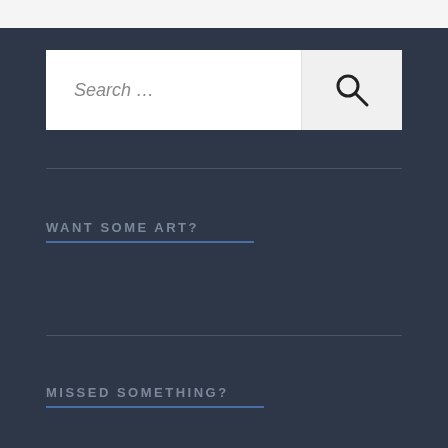[Figure (screenshot): Search bar with placeholder text 'Search ...' and a search icon button on the right]
WANT SOME ART?
MISSED SOMETHING?